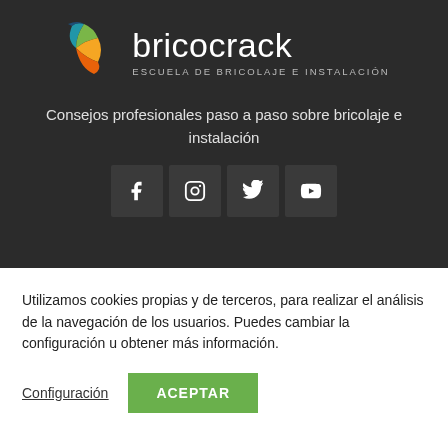[Figure (logo): Bricocrack logo: colorful arc/spiral graphic with brand name 'bricocrack' and subtitle 'ESCUELA DE BRICOLAJE E INSTALACIÓN']
Consejos profesionales paso a paso sobre bricolaje e instalación
[Figure (infographic): Social media icons: Facebook, Instagram, Twitter, YouTube]
Utilizamos cookies propias y de terceros, para realizar el análisis de la navegación de los usuarios. Puedes cambiar la configuración u obtener más información.
Configuración
ACEPTAR